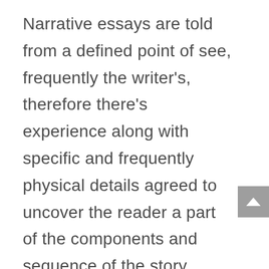Narrative essays are told from a defined point of see, frequently the writer's, therefore there's experience along with specific and frequently physical details agreed to uncover the reader a part of the components and sequence of the story. Writing a story composition is exceptionally like a storytelling. Narrative documents are typically a narrative form. A story composition is among the absolute many personalized kinds of composition you will create. To place it in brief formation, a plan...